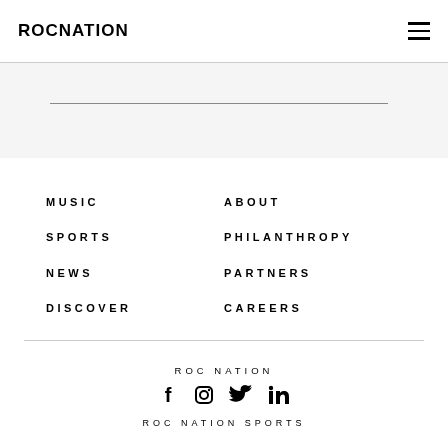ROCNATION
MUSIC
SPORTS
NEWS
DISCOVER
ABOUT
PHILANTHROPY
PARTNERS
CAREERS
ROC NATION
[Figure (infographic): Social media icons: Facebook, Instagram, Twitter, LinkedIn]
ROC NATION SPORTS